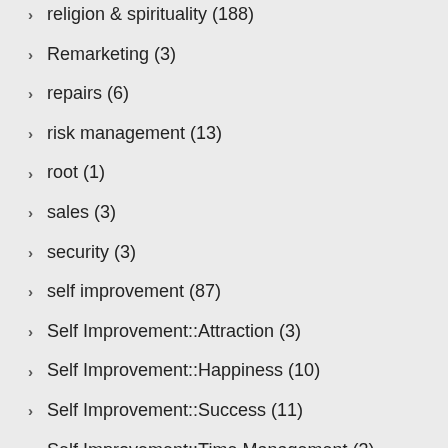religion & spirituality (188)
Remarketing (3)
repairs (6)
risk management (13)
root (1)
sales (3)
security (3)
self improvement (87)
Self Improvement::Attraction (3)
Self Improvement::Happiness (10)
Self Improvement::Success (11)
Self Improvement::Time Management (3)
seniors (168)